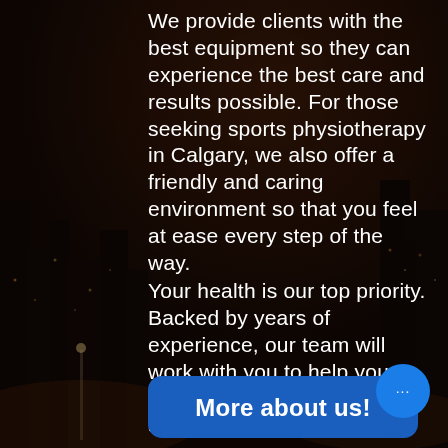[Figure (photo): Dark cityscape night background photo with city lights, overlaid with dark tint]
We provide clients with the best equipment so they can experience the best care and results possible. For those seeking sports physiotherapy in Calgary, we also offer a friendly and caring environment so that you feel at ease every step of the way.
Your health is our top priority. Backed by years of experience, our team will work with you to help you achieve your goals and make a full recovery.
More about us!